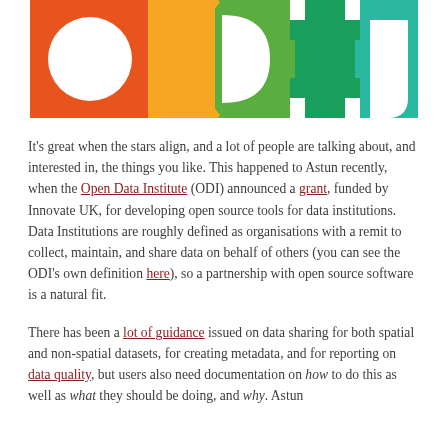[Figure (logo): ODI logo with colorful geometric shapes: orange, yellow, green, and teal/blue segments forming letters on white background]
It's great when the stars align, and a lot of people are talking about, and interested in, the things you like. This happened to Astun recently, when the Open Data Institute (ODI) announced a grant, funded by Innovate UK, for developing open source tools for data institutions. Data Institutions are roughly defined as organisations with a remit to collect, maintain, and share data on behalf of others (you can see the ODI's own definition here), so a partnership with open source software is a natural fit.
There has been a lot of guidance issued on data sharing for both spatial and non-spatial datasets, for creating metadata, and for reporting on data quality, but users also need documentation on how to do this as well as what they should be doing, and why. Astun are the ODI's partners in creating these open source tools.